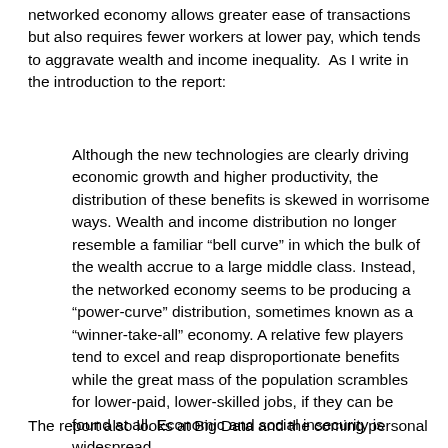networked economy allows greater ease of transactions but also requires fewer workers at lower pay, which tends to aggravate wealth and income inequality.  As I write in the introduction to the report:
Although the new technologies are clearly driving economic growth and higher productivity, the distribution of these benefits is skewed in worrisome ways. Wealth and income distribution no longer resemble a familiar “bell curve” in which the bulk of the wealth accrue to a large middle class. Instead, the networked economy seems to be producing a “power-curve” distribution, sometimes known as a “winner-take-all” economy. A relative few players tend to excel and reap disproportionate benefits while the great mass of the population scrambles for lower-paid, lower-skilled jobs, if they can be found at all. Economic and social insecurity is widespread.
The report also looks at Big Data and the coming personal